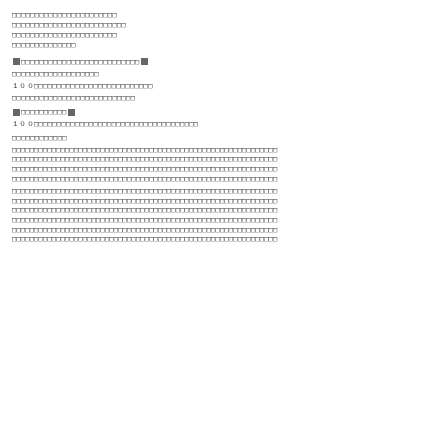（日本語の文書内容のため、文字が判読不能な状態です）
■ ～ ■
100 ～
■ ～ ■
100 ～
（本文テキスト）
（詳細テキスト段落）